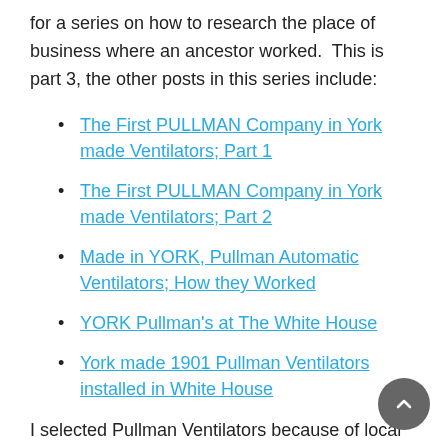for a series on how to research the place of business where an ancestor worked.  This is part 3, the other posts in this series include:
The First PULLMAN Company in York made Ventilators; Part 1
The First PULLMAN Company in York made Ventilators; Part 2
Made in YORK, Pullman Automatic Ventilators; How they Worked
YORK Pullman's at The White House
York made 1901 Pullman Ventilators installed in White House
I selected Pullman Ventilators because of local